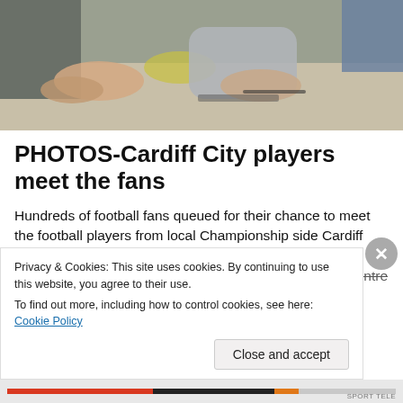[Figure (photo): Photo showing people's hands around a table, partially cropped, appears to be a fan meet event setting]
PHOTOS-Cardiff City players meet the fans
Hundreds of football fans queued for their chance to meet the football players from local Championship side Cardiff City. The queue started at the entrance to the St David's Centre on Working Street and led all the way upto the centre of the busy shopping mall between Boots and H
Privacy & Cookies: This site uses cookies. By continuing to use this website, you agree to their use.
To find out more, including how to control cookies, see here: Cookie Policy